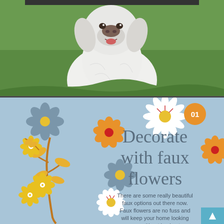[Figure (photo): White fluffy dog (possibly a golden retriever or similar breed) sitting outdoors on green grass, photographed from chest up, looking upward with mouth slightly open.]
[Figure (illustration): Light blue decorative panel with illustrated faux flowers in orange, white, blue-grey and yellow colors including a flower branch arrangement, scattered flower illustrations, and a number badge '01' in orange circle.]
Decorate with faux flowers
There are some really beautiful faux options out there now. Faux flowers are no fuss and will keep your home looking gorgeous without having to run to the store, clip, trim and re-